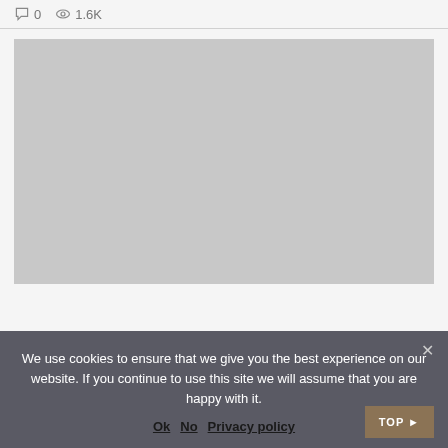0  1.6K
[Figure (photo): Large gray placeholder image representing a photo or embedded content]
We use cookies to ensure that we give you the best experience on our website. If you continue to use this site we will assume that you are happy with it.
Ok  No  Privacy policy